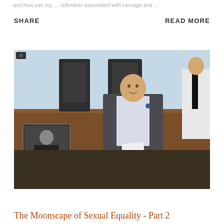and how can my ... [is/forever associated with carnage and ...] ...
SHARE
READ MORE
[Figure (photo): A man in a dark blazer speaking in what appears to be a legislative chamber, holding papers. There is a sign language interpreter inset in the lower left corner. Dark leather chairs and a brown wooden panel are visible in the background, along with another person in a white shirt and black tie on the right.]
The Moonscape of Sexual Equality - Part 2